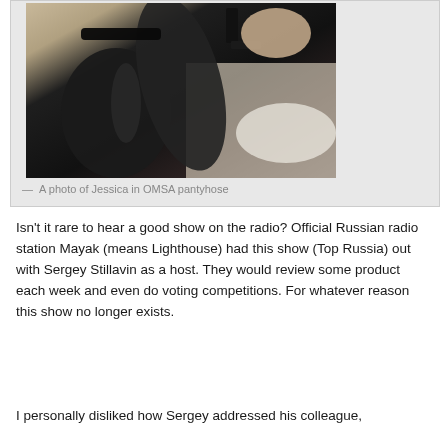[Figure (photo): A photo of legs wearing black OMSA pantyhose and high heels, lying on a bed or couch]
— A photo of Jessica in OMSA pantyhose
Isn't it rare to hear a good show on the radio? Official Russian radio station Mayak (means Lighthouse) had this show (Top Russia) out with Sergey Stillavin as a host. They would review some product each week and even do voting competitions. For whatever reason this show no longer exists.
I personally disliked how Sergey addressed his colleague,